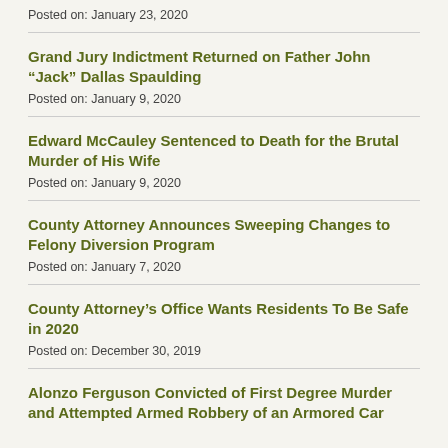Posted on: January 23, 2020
Grand Jury Indictment Returned on Father John “Jack” Dallas Spaulding
Posted on: January 9, 2020
Edward McCauley Sentenced to Death for the Brutal Murder of His Wife
Posted on: January 9, 2020
County Attorney Announces Sweeping Changes to Felony Diversion Program
Posted on: January 7, 2020
County Attorney’s Office Wants Residents To Be Safe in 2020
Posted on: December 30, 2019
Alonzo Ferguson Convicted of First Degree Murder and Attempted Armed Robbery of an Armored Car